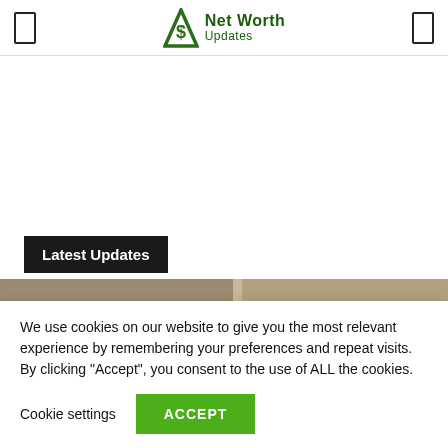Net Worth Updates
Latest Updates
[Figure (photo): Partial image strip showing a blurred room/interior scene in muted brown and tan tones]
We use cookies on our website to give you the most relevant experience by remembering your preferences and repeat visits. By clicking “Accept”, you consent to the use of ALL the cookies.
Cookie settings  ACCEPT